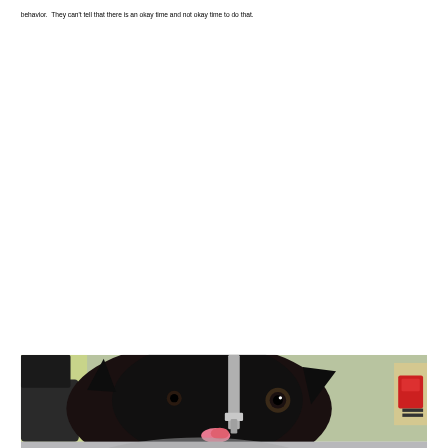behavior. They can't tell that there is an okay time and not okay time to do that.
[Figure (photo): A black cat drinking from or licking a chrome faucet/tap, photographed from close up. The cat has wide eyes looking at the camera. Part of a red-labeled bottle is visible in the background on the right. The bottom portion of the image fades into a light gray/white reflection area.]